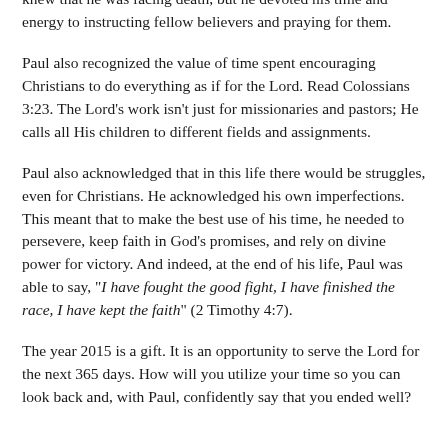knew that he was facing death, but he devoted his time and energy to instructing fellow believers and praying for them.
Paul also recognized the value of time spent encouraging Christians to do everything as if for the Lord. Read Colossians 3:23. The Lord’s work isn’t just for missionaries and pastors; He calls all His children to different fields and assignments.
Paul also acknowledged that in this life there would be struggles, even for Christians. He acknowledged his own imperfections. This meant that to make the best use of his time, he needed to persevere, keep faith in God’s promises, and rely on divine power for victory. And indeed, at the end of his life, Paul was able to say, “I have fought the good fight, I have finished the race, I have kept the faith” (2 Timothy 4:7).
The year 2015 is a gift. It is an opportunity to serve the Lord for the next 365 days. How will you utilize your time so you can look back and, with Paul, confidently say that you ended well?